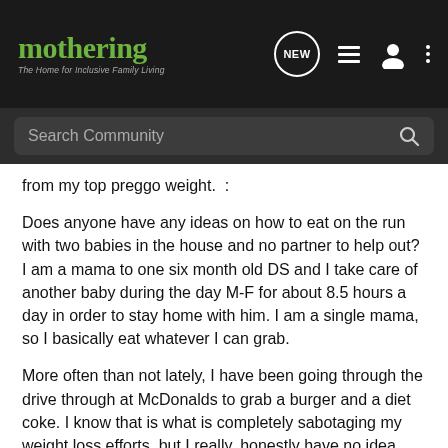mothering — The Home for Inclusive Family Living
from my top preggo weight.  :
Does anyone have any ideas on how to eat on the run with two babies in the house and no partner to help out? I am a mama to one six month old DS and I take care of another baby during the day M-F for about 8.5 hours a day in order to stay home with him. I am a single mama, so I basically eat whatever I can grab.
More often than not lately, I have been going through the drive through at McDonalds to grab a burger and a diet coke. I know that is what is completely sabotaging my weight loss efforts, but I really, honestly have no idea what to stock in the house to keep it healthy and super quick.